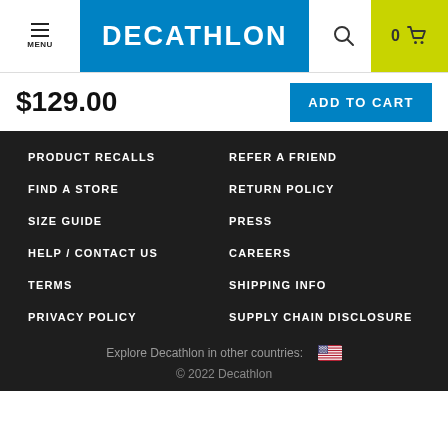[Figure (logo): Decathlon logo with blue background and white text, hamburger menu icon on left, search icon and cart icon on right in yellow-green]
$129.00
ADD TO CART
PRODUCT RECALLS
REFER A FRIEND
FIND A STORE
RETURN POLICY
SIZE GUIDE
PRESS
HELP / CONTACT US
CAREERS
TERMS
SHIPPING INFO
PRIVACY POLICY
SUPPLY CHAIN DISCLOSURE
Explore Decathlon in other countries: 🇺🇸
© 2022 Decathlon